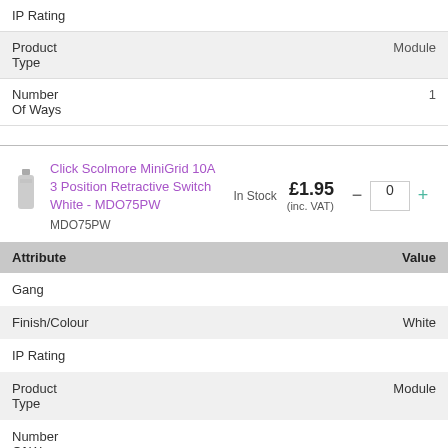| Attribute | Value |
| --- | --- |
| IP Rating |  |
| Product
Type | Module |
| Number
Of Ways | 1 |
Click Scolmore MiniGrid 10A 3 Position Retractive Switch White - MDO75PW
MDO75PW
In Stock
£1.95 (inc. VAT)
| Attribute | Value |
| --- | --- |
| Gang |  |
| Finish/Colour | White |
| IP Rating |  |
| Product
Type | Module |
| Number
Of Ways |  |